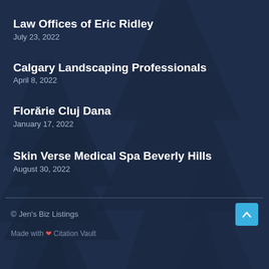Law Offices of Eric Ridley
July 23, 2022
Calgary Landscaping Professionals
April 8, 2022
Florărie Cluj Dana
January 17, 2022
Skin Verse Medical Spa Beverly Hills
August 30, 2022
© Jen's Biz Listings
Made with ❤ Citation Vault